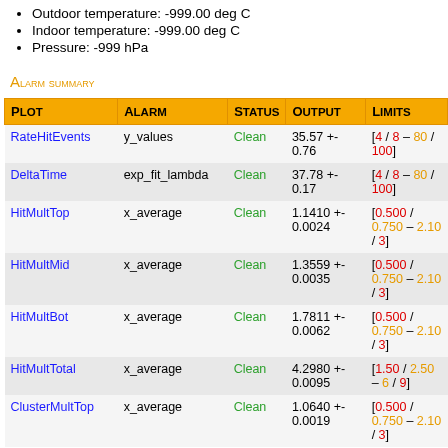Readout at -1.000 e-019 (00182030/9190 e before the start of the run)
Outdoor temperature: -999.00 deg C
Indoor temperature: -999.00 deg C
Pressure: -999 hPa
Alarm summary
| Plot | Alarm | Status | Output | Limits |
| --- | --- | --- | --- | --- |
| RateHitEvents | y_values | Clean | 35.57 +- 0.76 | [4 / 8 – 80 / 100] |
| DeltaTime | exp_fit_lambda | Clean | 37.78 +- 0.17 | [4 / 8 – 80 / 100] |
| HitMultTop | x_average | Clean | 1.1410 +- 0.0024 | [0.500 / 0.750 – 2.10 / 3] |
| HitMultMid | x_average | Clean | 1.3559 +- 0.0035 | [0.500 / 0.750 – 2.10 / 3] |
| HitMultBot | x_average | Clean | 1.7811 +- 0.0062 | [0.500 / 0.750 – 2.10 / 3] |
| HitMultTotal | x_average | Clean | 4.2980 +- 0.0095 | [1.50 / 2.50 – 6 / 9] |
| ClusterMultTop | x_average | Clean | 1.0640 +- 0.0019 | [0.500 / 0.750 – 2.10 / 3] |